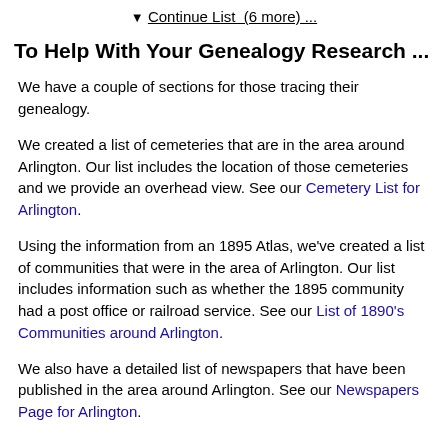▼ Continue List  (6 more) ...
To Help With Your Genealogy Research ...
We have a couple of sections for those tracing their genealogy.
We created a list of cemeteries that are in the area around Arlington. Our list includes the location of those cemeteries and we provide an overhead view. See our Cemetery List for Arlington.
Using the information from an 1895 Atlas, we've created a list of communities that were in the area of Arlington. Our list includes information such as whether the 1895 community had a post office or railroad service. See our List of 1890's Communities around Arlington.
We also have a detailed list of newspapers that have been published in the area around Arlington. See our Newspapers Page for Arlington.